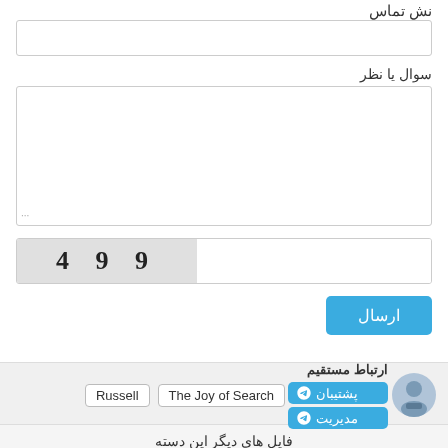نش تماس
[Figure (screenshot): Text input field for contact info]
سوال یا نظر
[Figure (screenshot): Large textarea for question or comment]
[Figure (screenshot): CAPTCHA field showing '9 9 4' with an input box]
[Figure (screenshot): Send button labeled 'ارسال']
جستجوی مرتبط: Russell The Joy of Search
ارتباط مستقیم
پشتیبان
مدیریت
فایل های دیگر این دسته